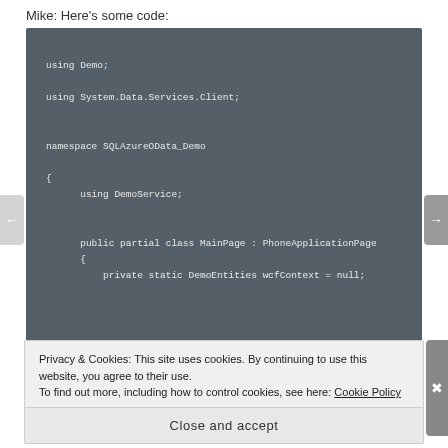Mike: Here's some code:
[Figure (screenshot): Dark gray code editor block showing C# code: using Demo; using System.Data.Services.Client; namespace SQLAzureOData_Demo { using DemoService; public partial class MainPage : PhoneApplicationPage { private static DemoEntities wcfContext = null;]
Privacy & Cookies: This site uses cookies. By continuing to use this website, you agree to their use.
To find out more, including how to control cookies, see here: Cookie Policy
Close and accept